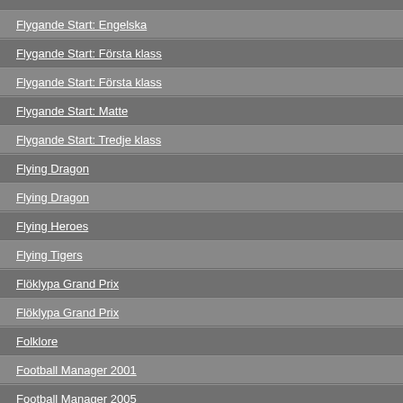Flygande Start: Engelska
Flygande Start: Första klass
Flygande Start: Första klass
Flygande Start: Matte
Flygande Start: Tredje klass
Flying Dragon
Flying Dragon
Flying Heroes
Flying Tigers
Flöklypa Grand Prix
Flöklypa Grand Prix
Folklore
Football Manager 2001
Football Manager 2005
Football Manager 2005
Football Manager 2006
Football Manager 2006
Football Manager 2006
Football Manager 2006
Football Manager 2007